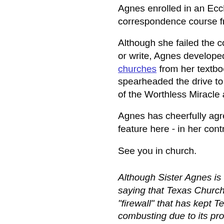Agnes enrolled in an Ecclesiastical correspondence course from M
Although she failed the course or write, Agnes developed a de churches from her textbook illu spearheaded the drive to resto of the Worthless Miracle at Fo
Agnes has cheerfully agreed to feature here - in her contributio
See you in church.
Although Sister Agnes is fiction saying that Texas Churches ar "firewall" that has kept Texas f combusting due to its proximity Texas churches is non-denoma appear as we come across the reference or the workmanship Editor